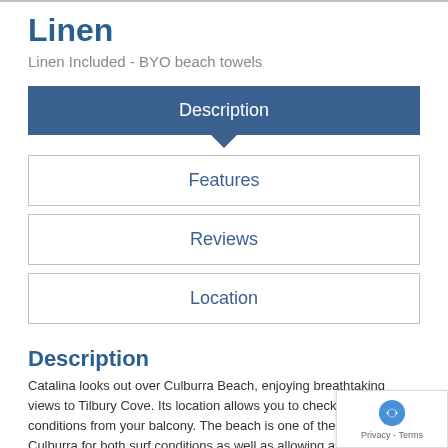Linen
Linen Included - BYO beach towels
Description
Features
Reviews
Location
Description
Catalina looks out over Culburra Beach, enjoying breathtaking views to Tilbury Cove. Its location allows you to check the surf conditions from your balcony. The beach is one of the best in Culburra for both surf conditions as well as allowing an easy stroll to the lighthouse at the end of the beach and Tilbury Cove to the south. Access to the beach is direct across the road.